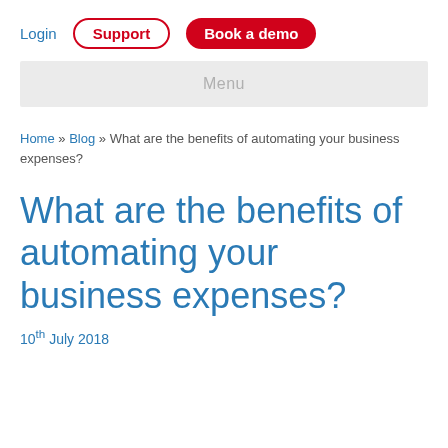Login  Support  Book a demo
Menu
Home » Blog » What are the benefits of automating your business expenses?
What are the benefits of automating your business expenses?
10th July 2018